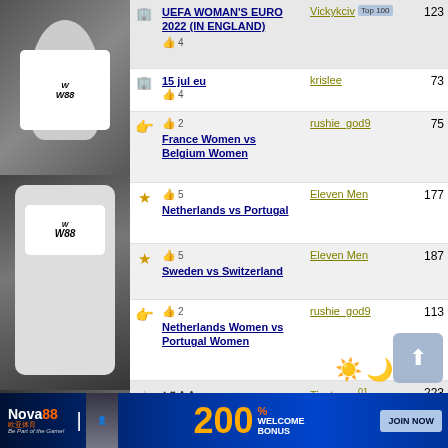[Figure (photo): Left banner with soccer players wearing white Fulham/W88 jerseys]
| Icon | Match/Event | User | Count |
| --- | --- | --- | --- |
| building | UEFA WOMAN'S EURO 2022 (IN ENGLAND) | Vickykciv Top 100 | 123 |
| building | 15 jul eu  👍4 | krislee | 73 |
| hand | France Women vs Belgium Women  👍2 | rushie_god9 | 75 |
| star | Netherlands vs Portugal  👍5 | Eleven Men | 177 |
| star | Sweden vs Switzerland  👍5 | Eleven Men | 187 |
| hand | Netherlands Women vs Portugal Women  👍2 | rushie_god9 | 113 |
| star-outline | ♠♥♣♣ Netherlands (w) vs Portugal (w) ♣♠♥♣  👍5 | Tinsters n°1 Top | 223 |
[Figure (infographic): Nova88 welcome 200% bonus advertisement banner at bottom]